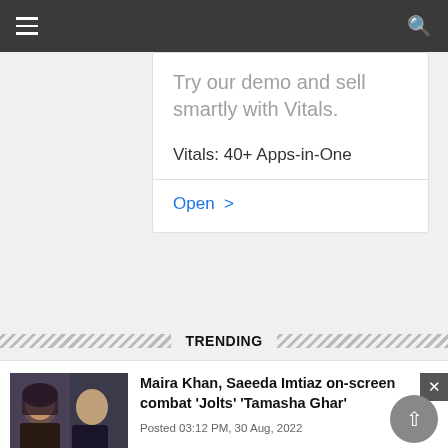Navigation bar with hamburger menu and search icon
[Figure (screenshot): Advertisement card: 'Try our demo and sell smartly with Vitals.' and 'Vitals: 40+ Apps-in-One' with an Open link]
TRENDING
[Figure (photo): Photo of two women - Maira Khan and Saeeda Imtiaz]
Maira Khan, Saeeda Imtiaz on-screen combat 'Jolts' 'Tamasha Ghar'
Posted 03:12 PM, 30 Aug, 2022